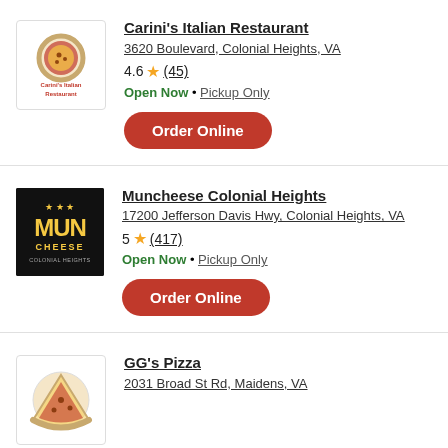[Figure (logo): Carini's Italian Restaurant logo with pizza graphic]
Carini's Italian Restaurant
3620 Boulevard, Colonial Heights, VA
4.6 ★ (45)
Open Now • Pickup Only
Order Online
[Figure (logo): Muncheese Colonial Heights logo with dark background and yellow stylized text]
Muncheese Colonial Heights
17200 Jefferson Davis Hwy, Colonial Heights, VA
5 ★ (417)
Open Now • Pickup Only
Order Online
[Figure (logo): GG's Pizza logo with pizza slice graphic]
GG's Pizza
2031 Broad St Rd, Maidens, VA